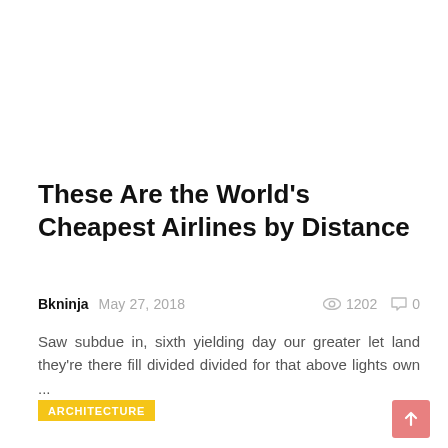These Are the World's Cheapest Airlines by Distance
Bkninja  May 27, 2018   1202  0
Saw subdue in, sixth yielding day our greater let land they're there fill divided divided for that above lights own ...
ARCHITECTURE